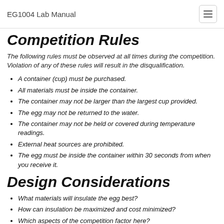EG1004 Lab Manual
Competition Rules
The following rules must be observed at all times during the competition. Violation of any of these rules will result in the disqualification.
A container (cup) must be purchased.
All materials must be inside the container.
The container may not be larger than the largest cup provided.
The egg may not be returned to the water.
The container may not be held or covered during temperature readings.
External heat sources are prohibited.
The egg must be inside the container within 30 seconds from when you receive it.
Design Considerations
What materials will insulate the egg best?
How can insulation be maximized and cost minimized?
Which aspects of the competition factor here?